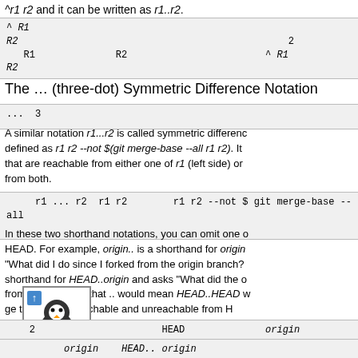^r1 r2 and it can be written as r1..r2.
^ R1 R2　　　　　　　　　　　　　　　　　　　　2　　　　　　R1R　　　R1　　　　　　　　R2　　　　　　　　　　　　^ R1 R2
The … (three-dot) Symmetric Difference Notation
...　3
A similar notation r1...r2 is called symmetric difference defined as r1 r2 --not $(git merge-base --all r1 r2). It that are reachable from either one of r1 (left side) or from both.
r1 ... r2　　r1　r2　　　　　　r1 r2 --not $　git merge-base --all
In these two shorthand notations, you can omit one HEAD. For example, origin.. is a shorthand for origin "What did I do since I forked from the origin branch? shorthand for HEAD..origin and asks "What did the from them?" Note that .. would mean HEAD..HEAD ge that is both reachable and unreachable from H　㈀2　　　　　　　　　　　　　　　　HEAD　　　　　　　　　　　origin ..　origin.　　　　　　　　　　 origin　　　　HEAD..　origin